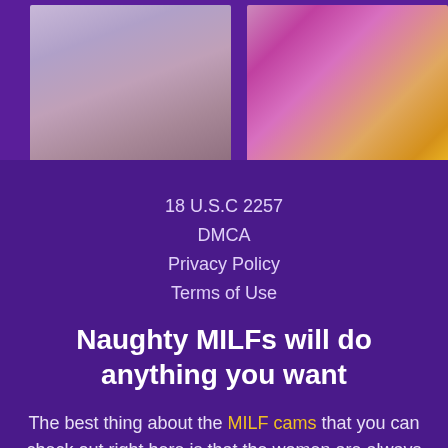[Figure (photo): Two photos side by side at top: left photo shows a dark-haired woman on a light background, right photo shows a woman on a pink/purple/orange gradient background]
18 U.S.C 2257
DMCA
Privacy Policy
Terms of Use
Naughty MILFs will do anything you want
The best thing about the MILF cams that you can check out right here is that the women are always ready to do